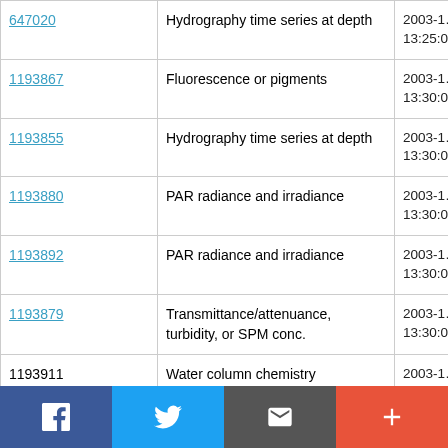| ID | Type | Date |
| --- | --- | --- |
| 647020 | Hydrography time series at depth | 2003-1… 13:25:0… |
| 1193867 | Fluorescence or pigments | 2003-1… 13:30:0… |
| 1193855 | Hydrography time series at depth | 2003-1… 13:30:0… |
| 1193880 | PAR radiance and irradiance | 2003-1… 13:30:0… |
| 1193892 | PAR radiance and irradiance | 2003-1… 13:30:0… |
| 1193879 | Transmittance/attenuance, turbidity, or SPM conc. | 2003-1… 13:30:0… |
| 1193911 | Water column chemistry | 2003-1… |